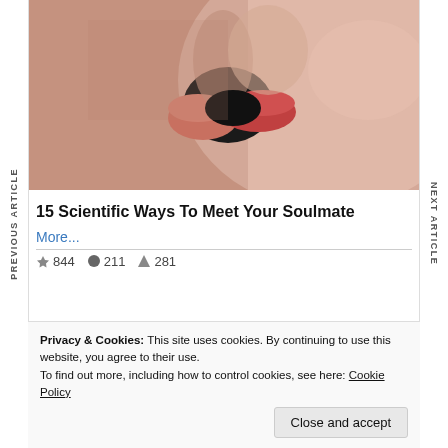[Figure (photo): Close-up of two people kissing, lips touching, one with red lipstick]
15 Scientific Ways To Meet Your Soulmate
More...
844  211  281
Privacy & Cookies: This site uses cookies. By continuing to use this website, you agree to their use.
To find out more, including how to control cookies, see here: Cookie Policy
Close and accept